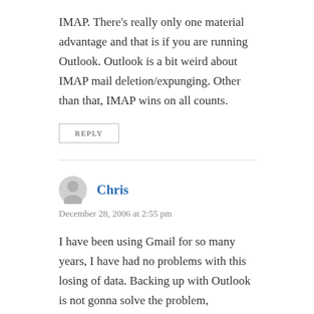IMAP. There's really only one material advantage and that is if you are running Outlook. Outlook is a bit weird about IMAP mail deletion/expunging. Other than that, IMAP wins on all counts.
REPLY
Chris
December 28, 2006 at 2:55 pm
I have been using Gmail for so many years, I have had no problems with this losing of data. Backing up with Outlook is not gonna solve the problem, sometimes backing up Outlook data is a nightmare. I have lost more data with Outlook than any other means. This is just some disgruntled user. Compared to Outlook,